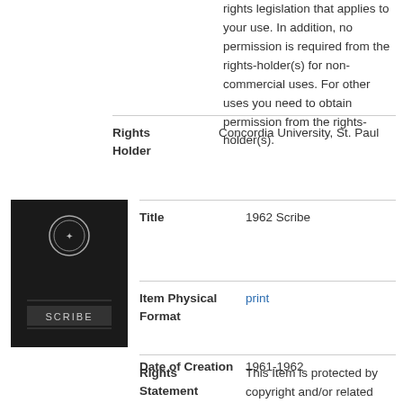rights legislation that applies to your use. In addition, no permission is required from the rights-holder(s) for non-commercial uses. For other uses you need to obtain permission from the rights-holder(s).
| Field | Value |
| --- | --- |
| Rights Holder | Concordia University, St. Paul |
| Title | 1962 Scribe |
| Item Physical Format | print |
| Date of Creation | 1961-1962 |
| Rights Statement | This Item is protected by copyright and/or related rights. You are free to use this Item in any way that is permitted by the copyright and related |